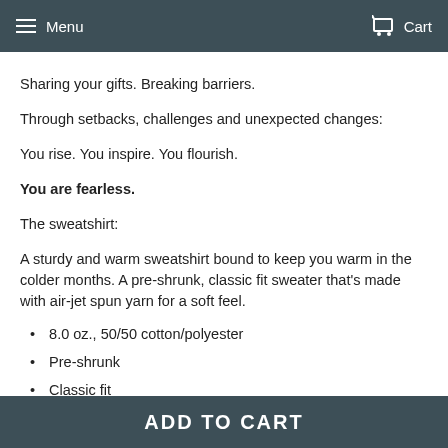Menu  Cart
Sharing your gifts.  Breaking barriers.
Through setbacks, challenges and unexpected changes:
You rise.  You inspire.  You flourish.
You are fearless.
The sweatshirt:
A sturdy and warm sweatshirt bound to keep you warm in the colder months. A pre-shrunk, classic fit sweater that's made with air-jet spun yarn for a soft feel.
8.0 oz., 50/50 cotton/polyester
Pre-shrunk
Classic fit
ADD TO CART